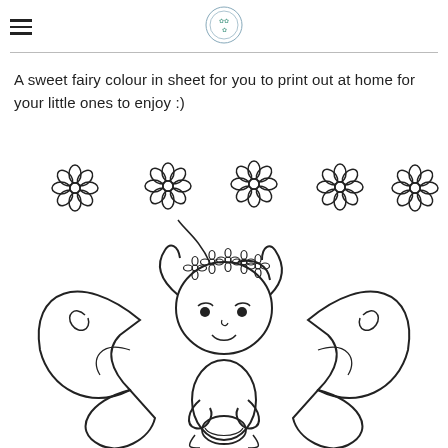≡  [logo]
A sweet fairy colour in sheet for you to print out at home for your little ones to enjoy :)
[Figure (illustration): A fairy colouring page illustration showing a cute cartoon fairy girl with a flower crown, large butterfly-style wings with swirl decorations, sitting pose with hands together. Above the fairy are five simple daisy/flower outlines arranged in a row. The whole image is a black and white line drawing intended for colouring in.]